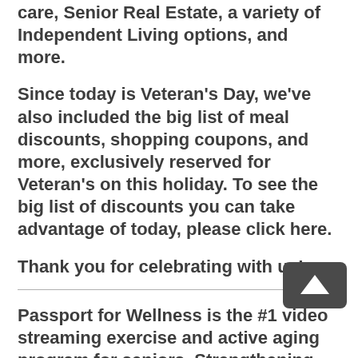care, Senior Real Estate, a variety of Independent Living options, and more.
Since today is Veteran’s Day, we’ve also included the big list of meal discounts, shopping coupons, and more, exclusively reserved for Veteran’s on this holiday. To see the big list of discounts you can take advantage of today, please click here.
Thank you for celebrating with us!
Passport for Wellness is the #1 video streaming exercise and active aging program for seniors. Strengthening and